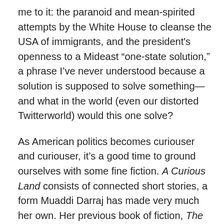me to it: the paranoid and mean-spirited attempts by the White House to cleanse the USA of immigrants, and the president's openness to a Mideast “one-state solution,” a phrase I’ve never understood because a solution is supposed to solve something—and what in the world (even our distorted Twitterworld) would this one solve?
As American politics becomes curiouser and curiouser, it’s a good time to ground ourselves with some fine fiction. A Curious Land consists of connected short stories, a form Muaddi Darraj has made very much her own. Her previous book of fiction, The Inheritance of Exile, also made up of linked stories, focused on young Palestinian American women growing up in South Philly. (I wrote about it in July 2010.) The new book takes us to Palestine itself, tracing the lives of fairly ordinary people through several